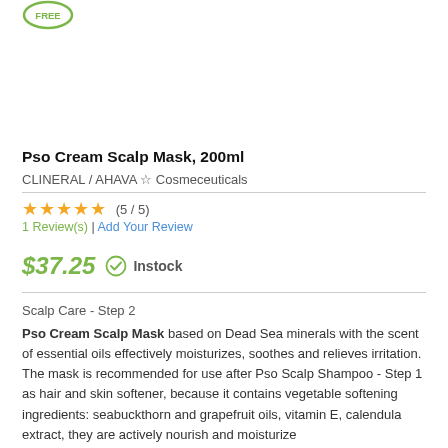[Figure (logo): Green circular badge with text FREE at top]
Pso Cream Scalp Mask, 200ml
CLINERAL / AHAVA ☆ Cosmeceuticals
★★★★★ (5 / 5)
1 Review(s) | Add Your Review
$37.25  ✓ Instock
Scalp Care - Step 2
Pso Cream Scalp Mask based on Dead Sea minerals with the scent of essential oils effectively moisturizes, soothes and relieves irritation. The mask is recommended for use after Pso Scalp Shampoo - Step 1 as hair and skin softener, because it contains vegetable softening ingredients: seabuckthorn and grapefruit oils, vitamin E, calendula extract, they are actively nourish and moisturize